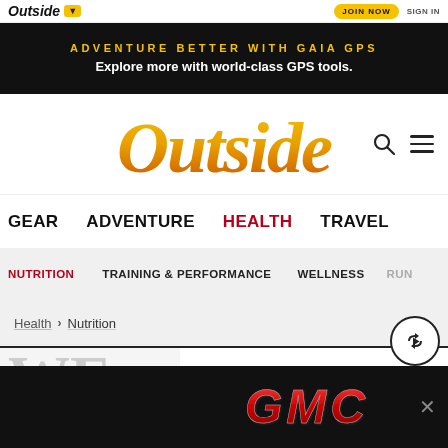Outside | JOIN NOW | SIGN IN
ADVENTURE BETTER WITH GAIA GPS — Explore more with world-class GPS tools.
Outside
GEAR   ADVENTURE   HEALTH   TRAVEL
NUTRITION   TRAINING & PERFORMANCE   WELLNESS   RUN
Health > Nutrition
[Figure (logo): GMC advertisement banner with red GMC logo on black background]
W E...